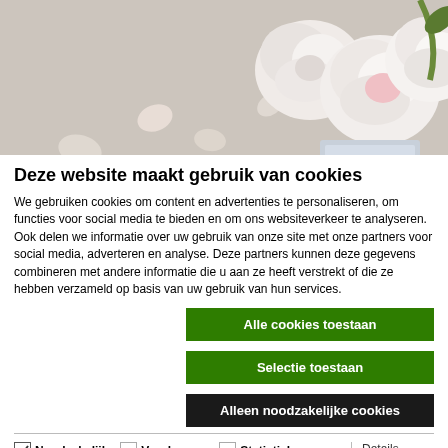[Figure (photo): Photo of white roses with scattered petals on a light beige background, partially visible at the top of the page]
Deze website maakt gebruik van cookies
We gebruiken cookies om content en advertenties te personaliseren, om functies voor social media te bieden en om ons websiteverkeer te analyseren. Ook delen we informatie over uw gebruik van onze site met onze partners voor social media, adverteren en analyse. Deze partners kunnen deze gegevens combineren met andere informatie die u aan ze heeft verstrekt of die ze hebben verzameld op basis van uw gebruik van hun services.
Alle cookies toestaan
Selectie toestaan
Alleen noodzakelijke cookies
Noodzakelijk  Voorkeuren  Statistieken  Marketing  Details tonen